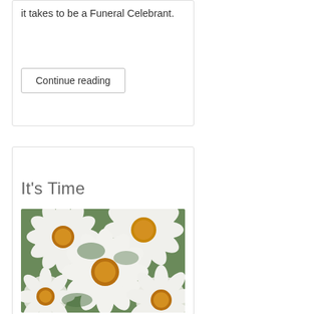it takes to be a Funeral Celebrant.
Continue reading
It's Time
[Figure (photo): Close-up photograph of white daisy flowers with yellow centres and green foliage in the background]